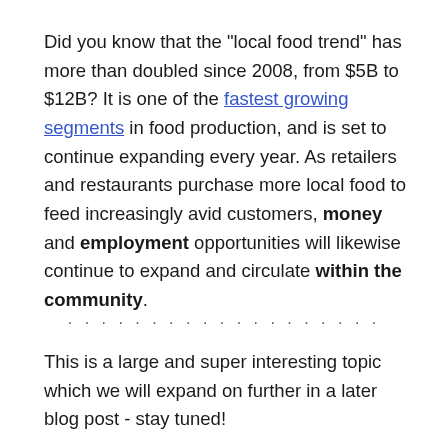Did you know that the "local food trend" has more than doubled since 2008, from $5B to $12B? It is one of the fastest growing segments in food production, and is set to continue expanding every year. As retailers and restaurants purchase more local food to feed increasingly avid customers, money and employment opportunities will likewise continue to expand and circulate within the community.
. . . . . . . . . . . . . . . . . . .
This is a large and super interesting topic which we will expand on further in a later blog post - stay tuned!